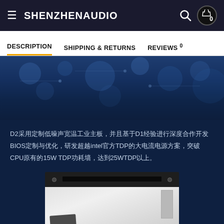SHENZHENAUDIO
DESCRIPTION   SHIPPING & RETURNS   REVIEWS 0
[Figure (photo): Dark blue circuit board background image with glowing light effects]
D2采用定制低噪声宽温工业主板，并且基于D1经验进行深度合作开发BIOS定制与优化，研发超越intel官方TDP的大电流电源方案，突破CPU原有的15W TDP功耗墙，达到25WTDP以上。
[Figure (photo): Hardware component photo showing a rack-mounted device with black top bar and light gray body panel]